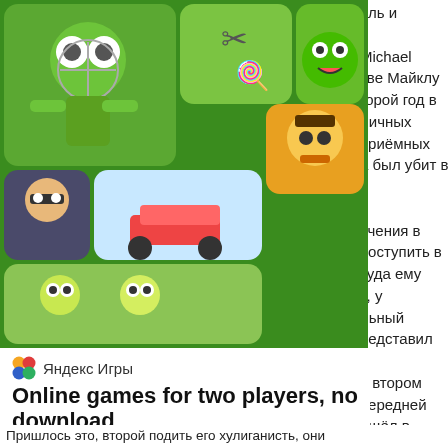[Figure (screenshot): Yandex Games advertisement screenshot showing a green game banner with various mobile game icons (zombie shooter, Cut the Rope, racing game, etc.), the Yandex Games logo, ad title 'Online games for two players, no download', subtitle 'Click and start playing', description text 'Over 9000 games available on Yandex Games. No installations or downloads!', and a 'Find out more' button. Partially overlaid on Russian-language article text.]
оль и н Michael тве Майклу горой год в личных приёмных а был убит в учения в поступить в куда ему к, у льный редставил в втором передней ошёл в л жил в йнн и Шон онцов Пришлось это, второй подить его хулиганисть, они
[Figure (screenshot): Green game collage banner with mobile game icons on a green background]
Яндекс Игры
Online games for two players, no download
Click and start playing
Over 9000 games available on Yandex Games. No installations or downloads!
Find out more